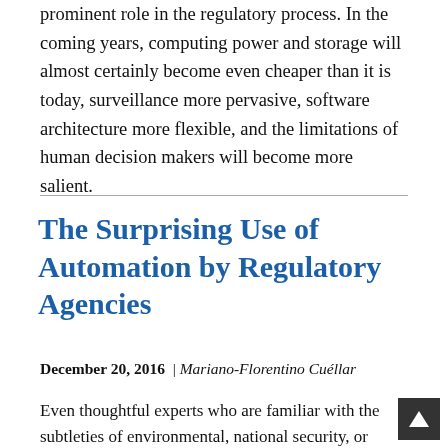prominent role in the regulatory process. In the coming years, computing power and storage will almost certainly become even cheaper than it is today, surveillance more pervasive, software architecture more flexible, and the limitations of human decision makers will become more salient.
The Surprising Use of Automation by Regulatory Agencies
December 20, 2016  |  Mariano-Florentino Cuéllar
Even thoughtful experts who are familiar with the subtleties of environmental, national security, or public